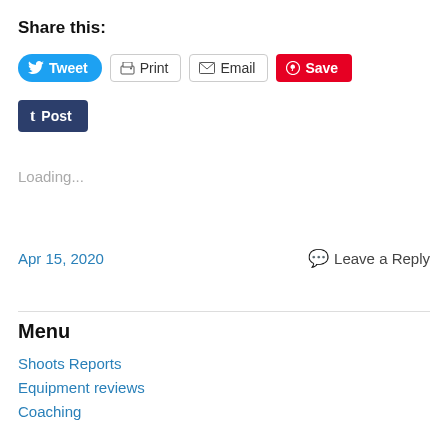Share this:
[Figure (screenshot): Social sharing buttons: Tweet (Twitter/blue), Print (gray border), Email (gray border), Save (Pinterest/red), Post (Tumblr/dark blue)]
Loading...
Apr 15, 2020   Leave a Reply
Menu
Shoots Reports
Equipment reviews
Coaching